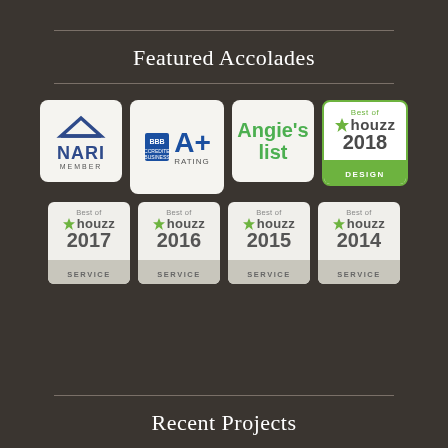Featured Accolades
[Figure (logo): Grid of 8 award/accreditation badges: NARI Member, BBB A+ Rating, Angie's List, Best of Houzz 2018 Design, Best of Houzz 2017 Service, Best of Houzz 2016 Service, Best of Houzz 2015 Service, Best of Houzz 2014 Service]
Recent Projects